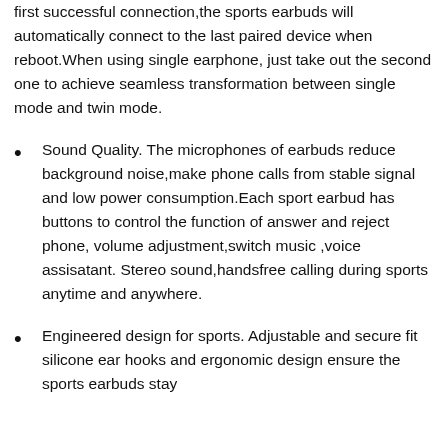first successful connection,the sports earbuds will automatically connect to the last paired device when reboot.When using single earphone, just take out the second one to achieve seamless transformation between single mode and twin mode.
Sound Quality. The microphones of earbuds reduce background noise,make phone calls from stable signal and low power consumption.Each sport earbud has buttons to control the function of answer and reject phone, volume adjustment,switch music ,voice assisatant. Stereo sound,handsfree calling during sports anytime and anywhere.
Engineered design for sports. Adjustable and secure fit silicone ear hooks and ergonomic design ensure the sports earbuds stay